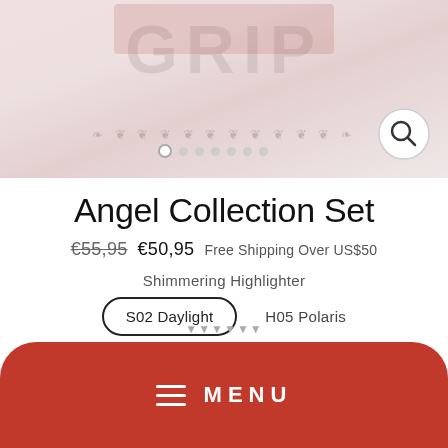[Figure (photo): Product image of Angel Collection Set makeup palette with decorative pattern, carousel navigation dots, and magnifier/zoom icon in bottom right]
Angel Collection Set
€55,95  €50,95  Free Shipping Over US$50
Shimmering Highlighter
S02 Daylight  H05 Polaris
Angel & Demon Highlighter
MENU